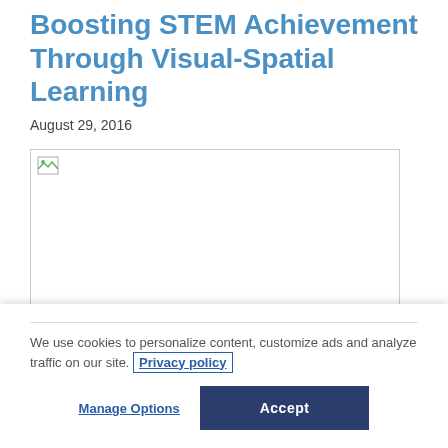Boosting STEM Achievement Through Visual-Spatial Learning
August 29, 2016
[Figure (photo): Broken/unloaded image placeholder with small icon in top-left corner, bordered box]
We use cookies to personalize content, customize ads and analyze traffic on our site. Privacy policy
Manage Options
Accept